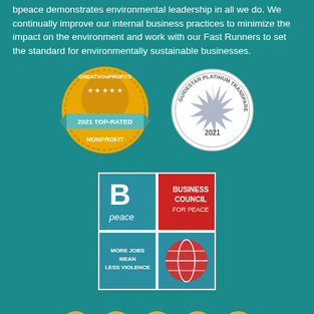bpeace demonstrates environmental leadership in all we do. We continually improve our internal business practices to minimize the impact on the environment and work with our Fast Runners to set the standard for environmentally sustainable businesses.
[Figure (logo): Two badges: GreatNonprofits 2021 Top-Rated Nonprofit badge (gold coin shape) and GuideStar Platinum Transparency 2021 badge (white circular seal)]
[Figure (logo): Bpeace Business Council for Peace logo - four quadrant grid with B/peace branding, Business Council for Peace text, and globe icon with More Jobs Mean Less Violence text]
[Figure (infographic): Five social media icon circles in gold/amber color: Facebook, Twitter, LinkedIn, Instagram, YouTube]